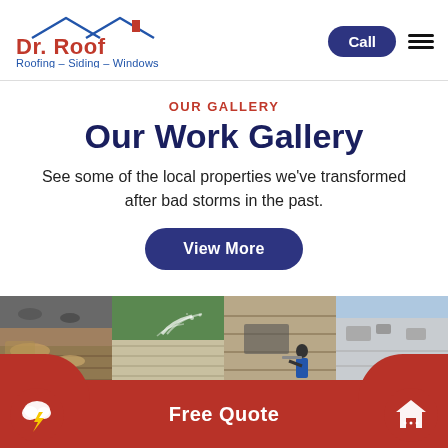[Figure (logo): Dr. Roof logo with roof outline graphic above text. Text reads 'Dr. Roof' in red and 'Roofing – Siding – Windows' in blue below.]
Call
OUR GALLERY
Our Work Gallery
See some of the local properties we've transformed after bad storms in the past.
View More
[Figure (photo): Four thumbnail photos showing roofing work: damaged shingles, power washing a surface, a worker on a roof, and a flat roof.]
Free Quote